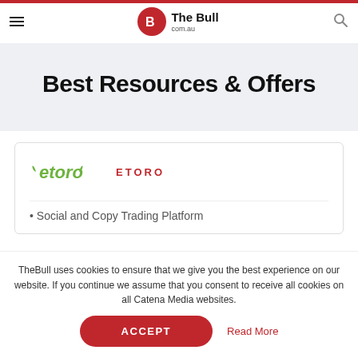The Bull com.au
Best Resources & Offers
[Figure (logo): eToro logo with green bull horns wordmark and red ETORO text label]
Social and Copy Trading Platform
TheBull uses cookies to ensure that we give you the best experience on our website. If you continue we assume that you consent to receive all cookies on all Catena Media websites.
ACCEPT
Read More